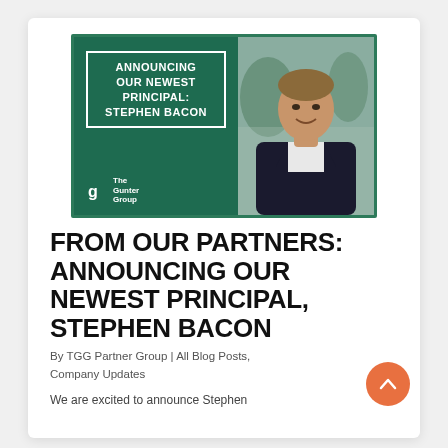[Figure (photo): Announcement banner for The Gunter Group showing text 'ANNOUNCING OUR NEWEST PRINCIPAL: STEPHEN BACON' on a dark green background with a bordered white box, The Gunter Group logo bottom left, and a professional headshot photo of Stephen Bacon (a man in a dark suit, white shirt) on the right side with trees/nature background.]
FROM OUR PARTNERS: ANNOUNCING OUR NEWEST PRINCIPAL, STEPHEN BACON
By TGG Partner Group | All Blog Posts, Company Updates
We are excited to announce Stephen...